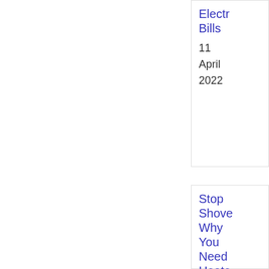Electr Bills
11
April
2022
Stop Shove Why You Need Heate Step Tread For Your Home
3
January
2022